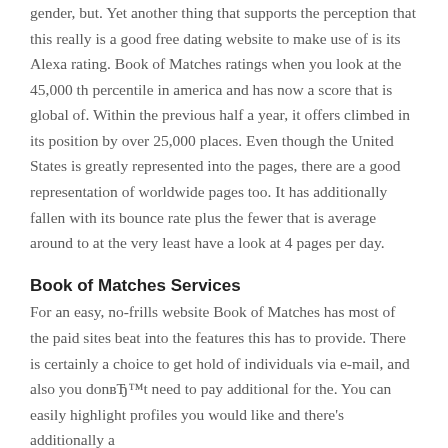gender, but. Yet another thing that supports the perception that this really is a good free dating website to make use of is its Alexa rating. Book of Matches ratings when you look at the 45,000 th percentile in america and has now a score that is global of. Within the previous half a year, it offers climbed in its position by over 25,000 places. Even though the United States is greatly represented into the pages, there are a good representation of worldwide pages too. It has additionally fallen with its bounce rate plus the fewer that is average around to at the very least have a look at 4 pages per day.
Book of Matches Services
For an easy, no-frills website Book of Matches has most of the paid sites beat into the features this has to provide. There is certainly a choice to get hold of individuals via e-mail, and also you donвЂ™t need to pay additional for the. You can easily highlight profiles you would like and there's additionally a